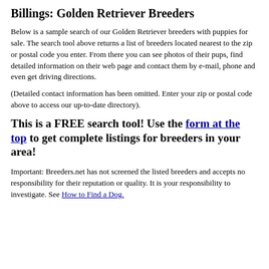Billings: Golden Retriever Breeders
Below is a sample search of our Golden Retriever breeders with puppies for sale. The search tool above returns a list of breeders located nearest to the zip or postal code you enter. From there you can see photos of their pups, find detailed information on their web page and contact them by e-mail, phone and even get driving directions.
(Detailed contact information has been omitted. Enter your zip or postal code above to access our up-to-date directory).
This is a FREE search tool! Use the form at the top to get complete listings for breeders in your area!
Important: Breeders.net has not screened the listed breeders and accepts no responsibility for their reputation or quality. It is your responsibility to investigate. See How to Find a Dog.